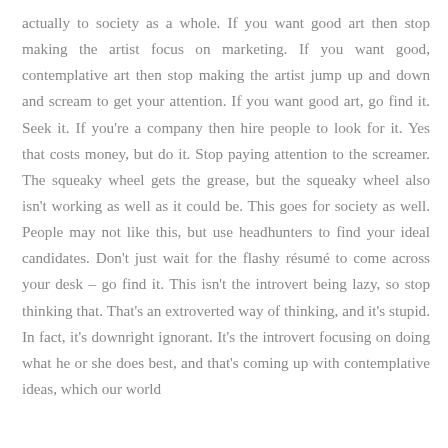actually to society as a whole. If you want good art then stop making the artist focus on marketing. If you want good, contemplative art then stop making the artist jump up and down and scream to get your attention. If you want good art, go find it. Seek it. If you're a company then hire people to look for it. Yes that costs money, but do it. Stop paying attention to the screamer. The squeaky wheel gets the grease, but the squeaky wheel also isn't working as well as it could be. This goes for society as well. People may not like this, but use headhunters to find your ideal candidates. Don't just wait for the flashy résumé to come across your desk – go find it. This isn't the introvert being lazy, so stop thinking that. That's an extroverted way of thinking, and it's stupid. In fact, it's downright ignorant. It's the introvert focusing on doing what he or she does best, and that's coming up with contemplative ideas, which our world